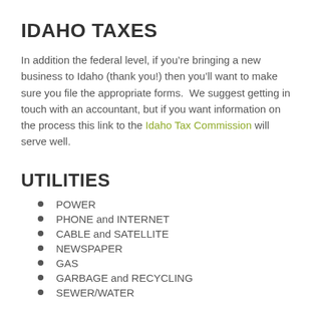IDAHO TAXES
In addition the federal level, if you’re bringing a new business to Idaho (thank you!) then you’ll want to make sure you file the appropriate forms.  We suggest getting in touch with an accountant, but if you want information on the process this link to the Idaho Tax Commission will serve well.
UTILITIES
POWER
PHONE and INTERNET
CABLE and SATELLITE
NEWSPAPER
GAS
GARBAGE and RECYCLING
SEWER/WATER